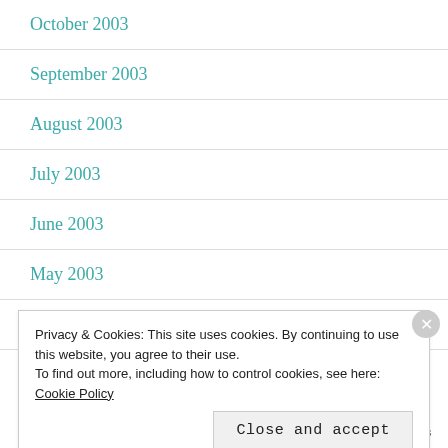October 2003
September 2003
August 2003
July 2003
June 2003
May 2003
April 2003
Privacy & Cookies: This site uses cookies. By continuing to use this website, you agree to their use.
To find out more, including how to control cookies, see here: Cookie Policy
Close and accept